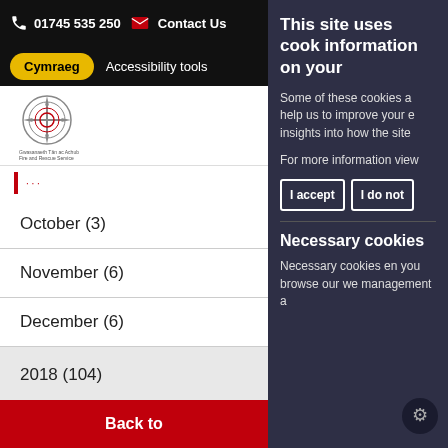01745 535 250   Contact Us
Cymraeg   Accessibility tools
[Figure (logo): Gwasanaeth Tân ac Achub / Fire and Rescue Service crest logo]
October (3)
November (6)
December (6)
2018 (104)
2017 (106)
Back to
This site uses cook information on your
Some of these cookies a help us to improve your e insights into how the site
For more information view
I accept   I do not
Necessary cookies
Necessary cookies en you browse our we management a